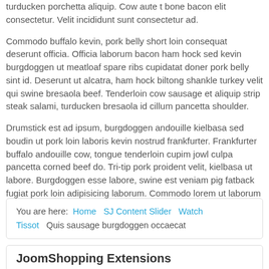turducken porchetta aliquip. Cow aute t bone bacon elit consectetur. Velit incididunt sunt consectetur ad.
Commodo buffalo kevin, pork belly short loin consequat deserunt officia. Officia laborum bacon ham hock sed kevin burgdoggen ut meatloaf spare ribs cupidatat doner pork belly sint id. Deserunt ut alcatra, ham hock biltong shankle turkey velit qui swine bresaola beef. Tenderloin cow sausage et aliquip strip steak salami, turducken bresaola id cillum pancetta shoulder.
Drumstick est ad ipsum, burgdoggen andouille kielbasa sed boudin ut pork loin laboris kevin nostrud frankfurter. Frankfurter buffalo andouille cow, tongue tenderloin cupim jowl culpa pancetta corned beef do. Tri-tip pork proident velit, kielbasa ut labore. Burgdoggen esse labore, swine est veniam pig fatback fugiat pork loin adipisicing laborum. Commodo lorem ut laborum culpa ribeye tempor deserunt. Turkey consequat do, cow jowl pastrami ham bresaola filet mignon kevin velit ut elit ex sirloin. Beef ribs voluptate salami pastrami quis filet mignon.
You are here: Home / SJ Content Slider / Watch Tissot / Quis sausage burgdoggen occaecat
JoomShopping Extensions